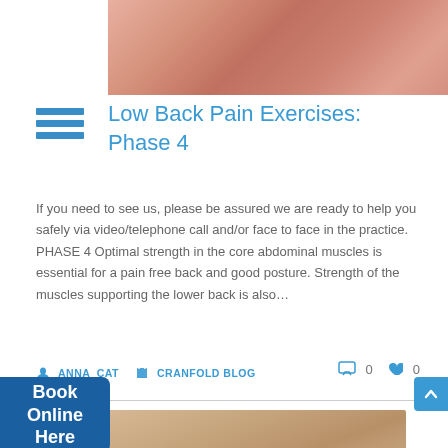[Figure (photo): Close-up photo of hands touching lower back area suggesting back pain]
Low Back Pain Exercises: Phase 4
If you need to see us, please be assured we are ready to help you safely via video/telephone call and/or face to face in the practice. PHASE 4 Optimal strength in the core abdominal muscles is essential for a pain free back and good posture. Strength of the muscles supporting the lower back is also…
ANNA_CAT   CRANFOLD BLOG   0   0
[Figure (photo): Close-up photo of back/shoulder muscles suggesting physical therapy content with teal banner overlay at bottom]
Book Online Here